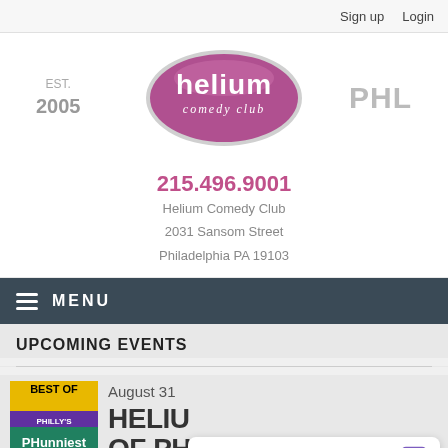Sign up   Login
[Figure (logo): Helium Comedy Club oval logo with EST. 2005 text on left and PHL text on right]
215.496.9001
Helium Comedy Club
2031 Sansom Street
Philadelphia PA 19103
MENU
UPCOMING EVENTS
August 31
[Figure (photo): Best of Philly's Phunniest event poster with teal/dark background]
HELIU... OF PH...
Leave a message